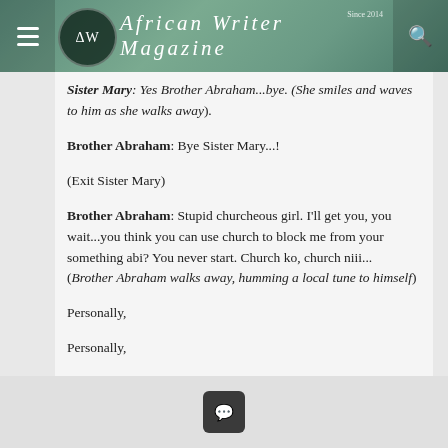African Writer Magazine — Since 2014
Sister Mary: Yes Brother Abraham...bye. (She smiles and waves to him as she walks away).
Brother Abraham: Bye Sister Mary...!
(Exit Sister Mary)
Brother Abraham: Stupid churcheous girl. I'll get you, you wait...you think you can use church to block me from your something abi? You never start. Church ko, church niii... (Brother Abraham walks away, humming a local tune to himself)
Personally,
Personally,